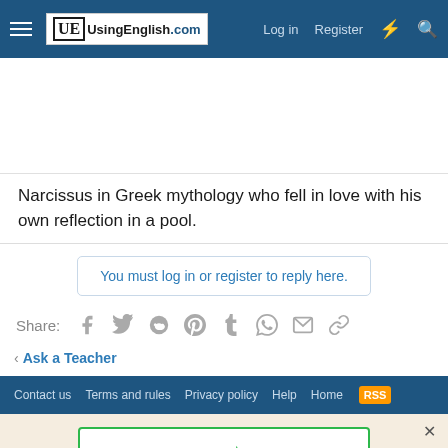UsingEnglish.com — Log in  Register
Narcissus in Greek mythology who fell in love with his own reflection in a pool.
You must log in or register to reply here.
Share:
< Ask a Teacher
Contact us  Terms and rules  Privacy policy  Help  Home  RSS
Review us on ★ Trustpilot